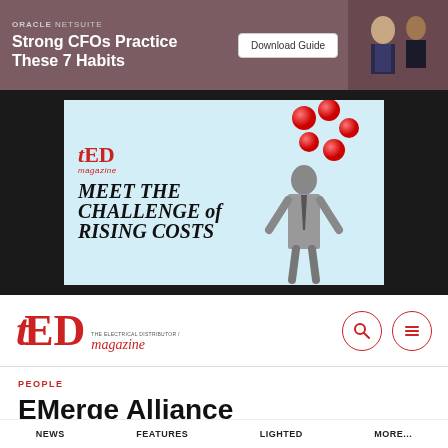[Figure (screenshot): Oracle NetSuite advertisement banner: burgundy/mauve background, text 'Strong CFOs Practice These 7 Habits', Download Guide button, photo of two business professionals]
[Figure (screenshot): TED magazine advertisement: light blue background, TED magazine logo, text 'MEET THE CHALLENGE of RISING COSTS', person juggling red balls]
[Figure (logo): TED magazine header logo with search and hamburger menu icons]
PEOPLE
EMerge Alliance Expands Leadership to Position for Growth
NEWS   FEATURES   LIGHTED   MORE...